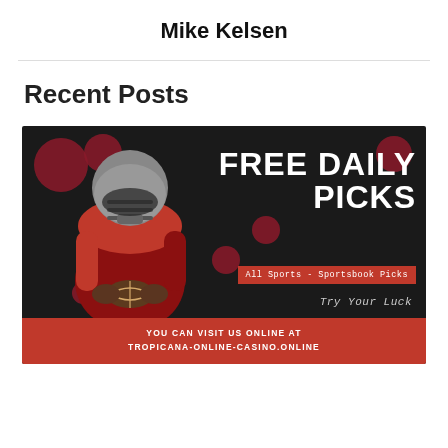Mike Kelsen
Recent Posts
[Figure (illustration): Sports betting promotional banner with a football player in red jersey and helmet holding a football on a dark background. Text reads: FREE DAILY PICKS, All Sports - Sportsbook Picks, Try Your Luck, YOU CAN VISIT US ONLINE AT TROPICANA-ONLINE-CASINO.ONLINE]